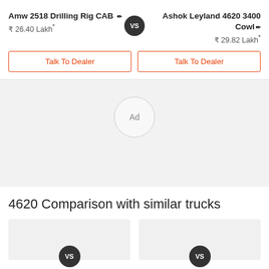Amw 2518 Drilling Rig CAB
₹ 26.40 Lakh*
Ashok Leyland 4620 3400 Cowl
₹ 29.82 Lakh*
Talk To Dealer
Talk To Dealer
[Figure (other): Ad placeholder circle with text 'Ad' on light grey background]
4620 Comparison with similar trucks
[Figure (other): Comparison card left with VS badge]
[Figure (other): Comparison card right with VS badge]